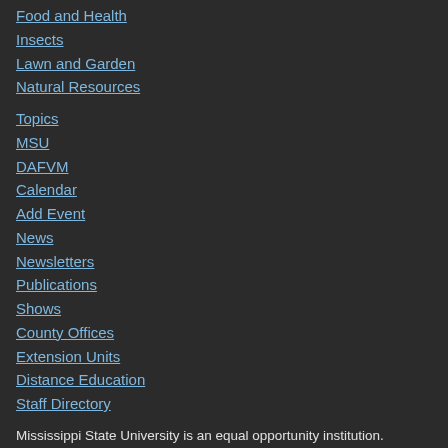Food and Health
Insects
Lawn and Garden
Natural Resources
Topics
MSU
DAFVM
Calendar
Add Event
News
Newsletters
Publications
Shows
County Offices
Extension Units
Distance Education
Staff Directory
Mississippi State University is an equal opportunity institution. Discrimination in university employment, programs, or activities based on race, color, ethnicity, sex, pregnancy, religion, national origin, disability, age, sexual orientation, gender identity, genetic information, status as a U.S. veteran, or any other status protected by applicable law is prohibited.